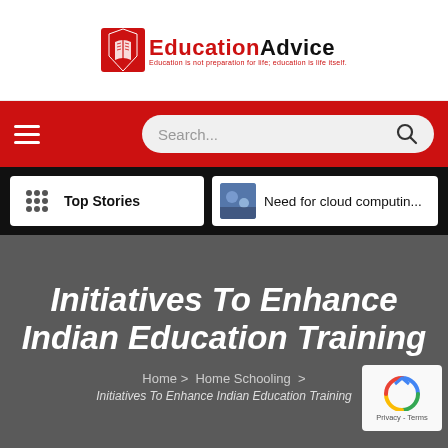EducationAdvice — Education is not preparation for life; education is life itself.
[Figure (logo): EducationAdvice logo with red shield icon and tagline]
[Figure (screenshot): Red navigation bar with hamburger menu on left and search box on right]
[Figure (screenshot): Black stories bar with Top Stories card and Need for cloud computin... card]
Initiatives To Enhance Indian Education Training
Home > Home Schooling > Initiatives To Enhance Indian Education Training